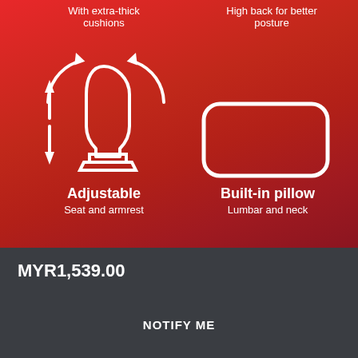With extra-thick cushions
High back for better posture
[Figure (illustration): White line icon of a reclining gaming chair with rotation arrows above and height adjustment arrows on the left side]
[Figure (illustration): White line icon of a rectangular pillow with rounded corners]
Adjustable
Seat and armrest
Built-in pillow
Lumbar and neck
MYR1,539.00
NOTIFY ME